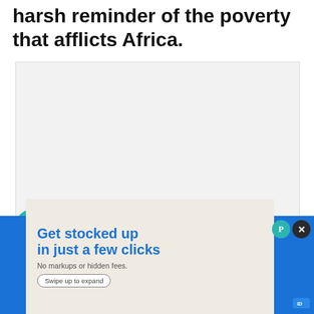harsh reminder of the poverty that afflicts Africa.
[Figure (photo): A large image area (appears mostly blank/white in this crop) with social interaction buttons overlaid on the left: a teal heart/like button, a count of 1, and a share button.]
WHAT'S NEXT → 11 Amazing Castles In...
[Figure (photo): Circular thumbnail of a castle or landmark with green/teal landscape.]
Get stocked up in just a few clicks
No markups or hidden fees.
Swipe up to expand